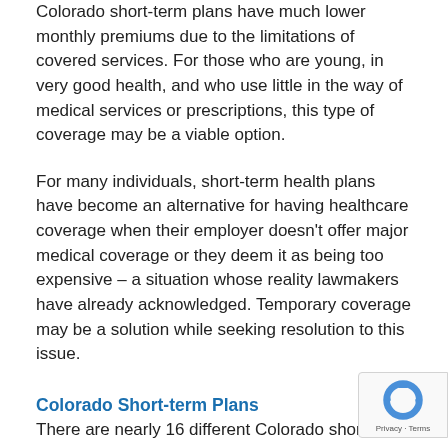Colorado short-term plans have much lower monthly premiums due to the limitations of covered services. For those who are young, in very good health, and who use little in the way of medical services or prescriptions, this type of coverage may be a viable option.
For many individuals, short-term health plans have become an alternative for having healthcare coverage when their employer doesn't offer major medical coverage or they deem it as being too expensive – a situation whose reality lawmakers have already acknowledged. Temporary coverage may be a solution while seeking resolution to this issue.
Colorado Short-term Plans
There are nearly 16 different Colorado short-term health plans with a wide range of benefits and covered